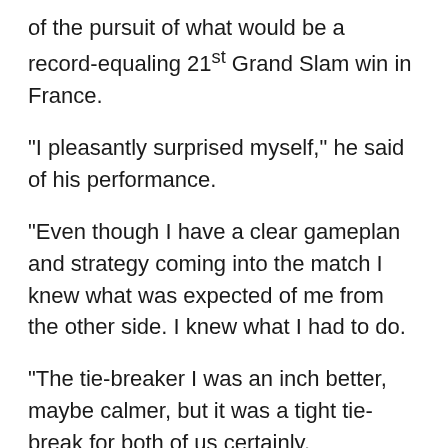of the pursuit of what would be a record-equaling 21st Grand Slam win in France.
"I pleasantly surprised myself," he said of his performance.
"Even though I have a clear gameplan and strategy coming into the match I knew what was expected of me from the other side. I knew what I had to do.
"The tie-breaker I was an inch better, maybe calmer, but it was a tight tie-break for both of us certainly.
"Two days ago [in the quarter-final] I played great," he added.